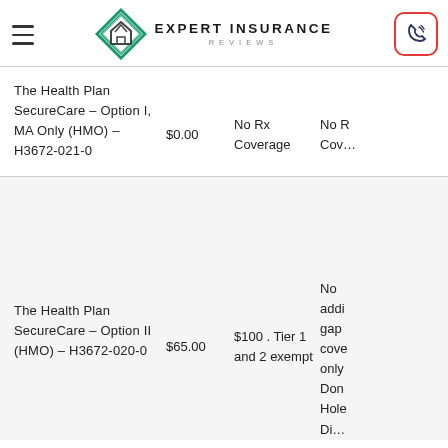Expert Insurance Reviews
| Plan Name | Premium | Rx Cost | Additional Coverage |
| --- | --- | --- | --- |
| The Health Plan SecureCare – Option I, MA Only (HMO) – H3672-021-0 | $0.00 | No Rx Coverage | No Rx Cov… |
| The Health Plan SecureCare – Option II (HMO) – H3672-020-0 | $65.00 | $100 . Tier 1 and 2 exempt | No additional gap coverage only Donut Hole Di… |